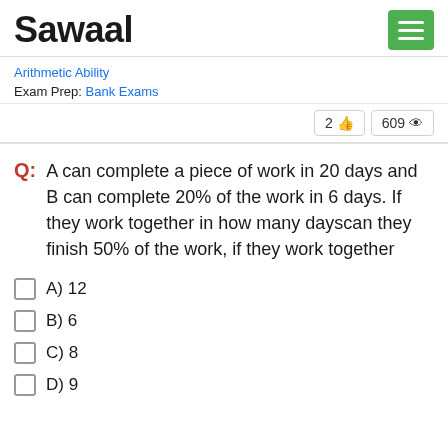Sawaal
Arithmetic Ability
Exam Prep: Bank Exams
2 👍  609 👁
Q: A can complete a piece of work in 20 days and B can complete 20% of the work in 6 days. If they work together in how many dayscan they finish 50% of the work, if they work together
A) 12
B) 6
C) 8
D) 9